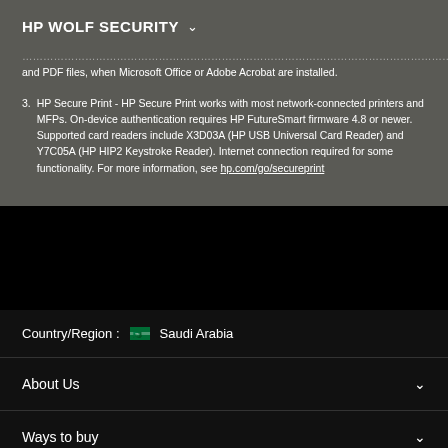HP WOLF SECURITY
...attachments include Microsoft Office (Word, Excel, PowerPoint, etc.), and PDF files, when Microsoft Office or Adobe Acrobat are installed.
3. HP Secure Print - HP Secure Print works with most network-connected printers and MFPs. On-device authentication requires HP FutureSmart firmware 4.8 or newer. Supported card readers include X3D03A (HP USB Universal Card Reader) and Y7C05A (HP HIP2 Keystroke Reader). Internet connection required for some functionality. For more information, see hp.com/go/secureprint
Country/Region : Saudi Arabia
About Us
Ways to buy